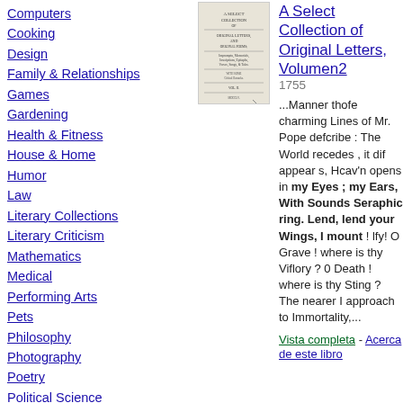Computers
Cooking
Design
Family & Relationships
Games
Gardening
Health & Fitness
House & Home
Humor
Law
Literary Collections
Literary Criticism
Mathematics
Medical
Performing Arts
Pets
Philosophy
Photography
Poetry
Political Science
Psychology
Religion
[Figure (illustration): Book cover of A Select Collection of Original Letters, Volumen 2 (1755), small thumbnail showing title page text]
A Select Collection of Original Letters, Volumen2
1755
...Manner thofe charming Lines of Mr. Pope defcribe : The World recedes , it dif appear s, Hcav'n opens in my Eyes ; my Ears, With Sounds Seraphic ring. Lend, lend your Wings, I mount ! lfy! O Grave ! where is thy Viflory ? 0 Death ! where is thy Sting ? The nearer I approach to Immortality,...
Vista completa - Acerca de este libro